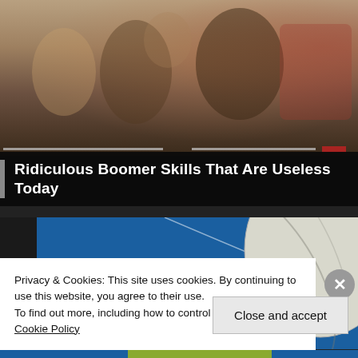[Figure (photo): Top portion of a webpage showing a dark brownish photo of people, partially visible, with a video progress bar overlay]
Ridiculous Boomer Skills That Are Useless Today
[Figure (photo): Blue background with a partial globe/moon image in the upper right, appearing to be a second article thumbnail]
Privacy & Cookies: This site uses cookies. By continuing to use this website, you agree to their use.
To find out more, including how to control cookies, see here: Cookie Policy
Close and accept